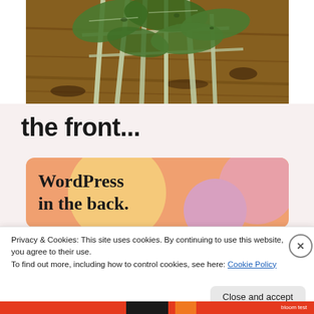[Figure (photo): Close-up photo of green leafy vegetables (likely Swiss chard or similar) with white stems on a wooden surface]
the front...
[Figure (infographic): WordPress promotional banner with orange background and colorful bubble shapes, text reads 'WordPress in the back.']
Privacy & Cookies: This site uses cookies. By continuing to use this website, you agree to their use.
To find out more, including how to control cookies, see here: Cookie Policy
Close and accept